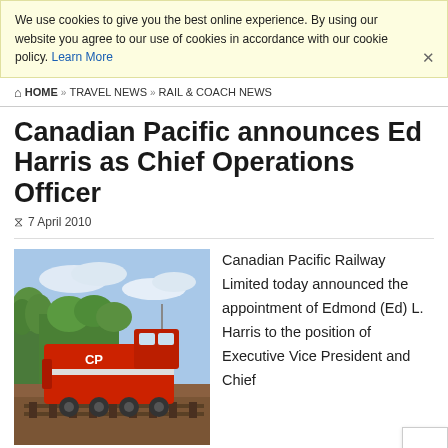We use cookies to give you the best online experience. By using our website you agree to our use of cookies in accordance with our cookie policy. Learn More
HOME » TRAVEL NEWS » RAIL & COACH NEWS
Canadian Pacific announces Ed Harris as Chief Operations Officer
7 April 2010
[Figure (photo): A red Canadian Pacific Railway locomotive on tracks, surrounded by green trees, photographed outdoors under a partly cloudy sky.]
Canadian Pacific Railway Limited today announced the appointment of Edmond (Ed) L. Harris to the position of Executive Vice President and Chief
Operations Officer.